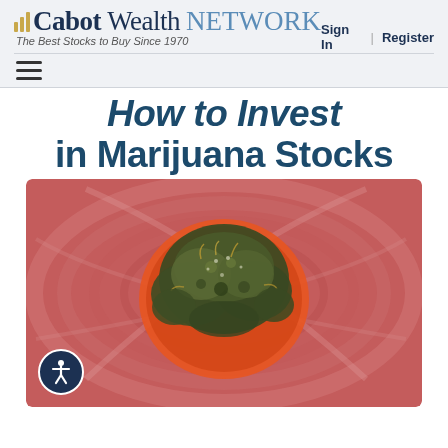Cabot Wealth NETWORK — The Best Stocks to Buy Since 1970
Sign In | Register
How to Invest in Marijuana Stocks
[Figure (photo): Close-up top-down view of marijuana buds inside an orange prescription pill bottle, with a swirling blurred background in pink and red tones]